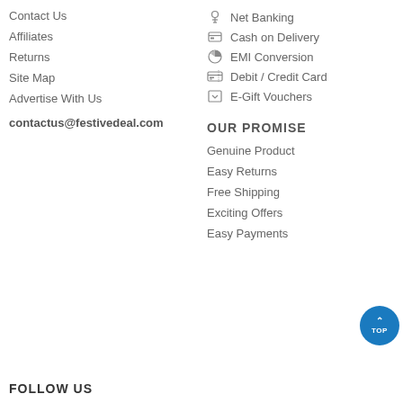Contact Us
Affiliates
Returns
Site Map
Advertise With Us
contactus@festivedeal.com
Net Banking
Cash on Delivery
EMI Conversion
Debit / Credit Card
E-Gift Vouchers
OUR PROMISE
Genuine Product
Easy Returns
Free Shipping
Exciting Offers
Easy Payments
FOLLOW US